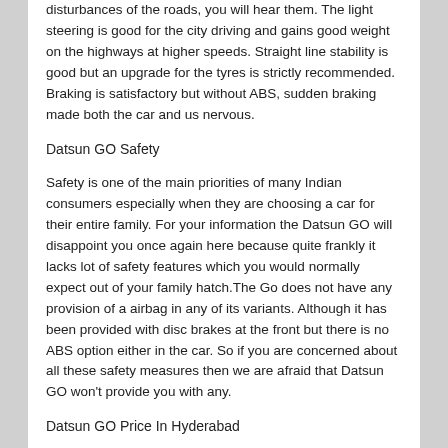disturbances of the roads, you will hear them. The light steering is good for the city driving and gains good weight on the highways at higher speeds. Straight line stability is good but an upgrade for the tyres is strictly recommended. Braking is satisfactory but without ABS, sudden braking made both the car and us nervous.
Datsun GO Safety
Safety is one of the main priorities of many Indian consumers especially when they are choosing a car for their entire family. For your information the Datsun GO will disappoint you once again here because quite frankly it lacks lot of safety features which you would normally expect out of your family hatch.The Go does not have any provision of a airbag in any of its variants. Although it has been provided with disc brakes at the front but there is no ABS option either in the car. So if you are concerned about all these safety measures then we are afraid that Datsun GO won't provide you with any.
Datsun GO Price In Hyderabad